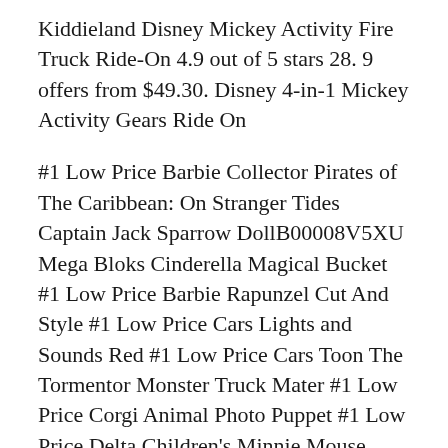Kiddieland Disney Mickey Activity Fire Truck Ride-On 4.9 out of 5 stars 28. 9 offers from $49.30. Disney 4-in-1 Mickey Activity Gears Ride On
#1 Low Price Barbie Collector Pirates of The Caribbean: On Stranger Tides Captain Jack Sparrow DollB00008V5XU Mega Bloks Cinderella Magical Bucket #1 Low Price Barbie Rapunzel Cut And Style #1 Low Price Cars Lights and Sounds Red #1 Low Price Cars Toon The Tormentor Monster Truck Mater #1 Low Price Corgi Animal Photo Puppet #1 Low Price Delta Children's Minnie Mouse Upholstered Chair #1 вЂ¦ Kids can get behind the wheel of the classic Little Tikes Cozy Coupe Car, or rev their engine in some far out electric rides. Choose from